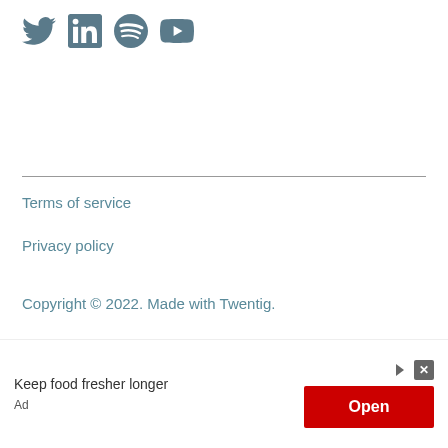[Figure (logo): Social media icons: Twitter, LinkedIn, Spotify, YouTube in dark teal/slate color]
Terms of service
Privacy policy
Copyright © 2022. Made with Twentig.
[Figure (other): Advertisement banner: 'Keep food fresher longer' with red Open button and ad controls]